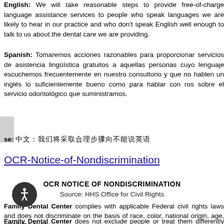English: We will take reasonable steps to provide free-of-charge language assistance services to people who speak languages we are likely to hear in our practice and who don't speak English well enough to talk to us about the dental care we are providing.
Spanish: Tomaremos acciones razonables para proporcionar servicios de asistencia lingüística gratuitos a aquellas personas cuyo lenguaje escuchemos frecuentemente en nuestro consultorio y que no hablen un inglés lo suficientemente bueno como para hablar con ros sobre el servicio odontológico que suministramos.
se: [Chinese characters]
OCR-Notice-of-Nondiscrimination
OCR NOTICE OF NONDISCRIMINATION
Source: HHS Office for Civil Rights
Family Dental Center complies with applicable Federal civil rights laws and does not discriminate on the basis of race, color, national origin, age, disability, or sex.
Family Dental Center does not exclude people or treat them differently because of race, color, national origin, age, disability, or sex.